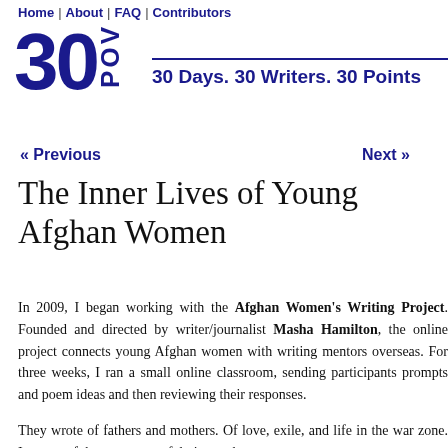Home | About | FAQ | Contributors
[Figure (logo): 30POV logo with large '30' and vertical 'POV' text in dark navy blue]
30 Days. 30 Writers. 30 Points of View.
« Previous    Next »
The Inner Lives of Young Afghan Women
In 2009, I began working with the Afghan Women's Writing Project. Founded and directed by writer/journalist Masha Hamilton, the online project connects young Afghan women with writing mentors overseas. For three weeks, I ran a small online classroom, sending participants prompts and poem ideas and then reviewing their responses.
They wrote of fathers and mothers. Of love, exile, and life in the war zone. In some of the most powerful pieces, they